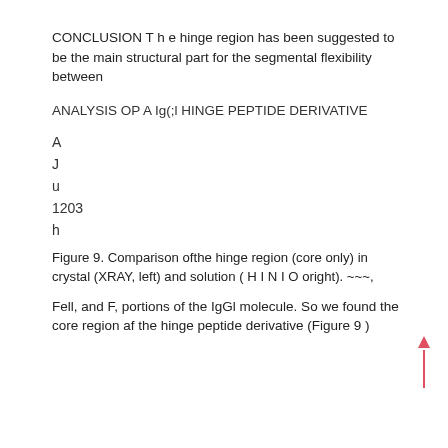CONCLUSION T h e hinge region has been suggested to be the main structural part for the segmental flexibility between
ANALYSIS OP A Ig(;l HINGE PEPTIDE DERIVATIVE
A
J
u
1203
h
Figure 9. Comparison ofthe hinge region (core only) in crystal (XRAY, left) and solution ( H I N I O oright). ~~~,
Fell, and F, portions of the IgGl molecule. So we found the core region af the hinge peptide derivative (Figure 9 )